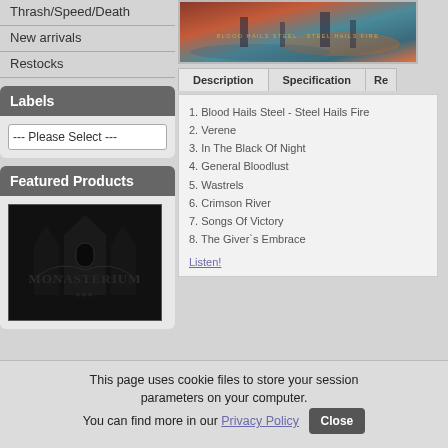Thrash/Speed/Death
New arrivals
Restocks
Labels
--- Please Select ---
Featured Products
[Figure (photo): Album cover artwork showing a dark fantasy castle or cathedral scene with gothic lettering reading Monasterium]
[Figure (photo): Album cover artwork with colorful landscape, orange and teal tones, with text overlay reading Blood Hails Steel - Steel Hails Fire]
Description
Specification
Re
1. Blood Hails Steel - Steel Hails Fire
2. Verene
3. In The Black Of Night
4. General Bloodlust
5. Wastrels
6. Crimson River
7. Songs Of Victory
8. The Giver`s Embrace
Listen!
This page uses cookie files to store your session parameters on your computer. You can find more in our Privacy Policy  Close